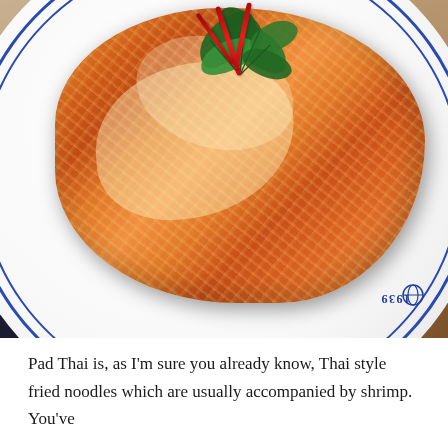[Figure (photo): Overhead photo of Pad Thai served on a white plate with blue decorative rim. The dish is an oval-shaped fried noodle cake, golden-orange in color with a crispy egg coating. It is garnished with fresh cilantro/herb leaves and thin red chili strips crossed on top. The plate has a blue circular rim pattern and shows '1939' text on the rim (upside down). The background shows a wooden table surface with a dark device visible in the bottom-left corner.]
Pad Thai is, as I'm sure you already know, Thai style fried noodles which are usually accompanied by shrimp. You've